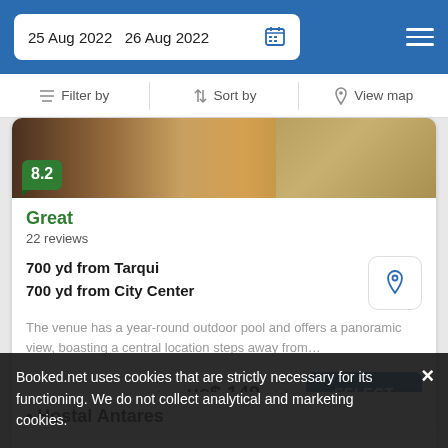25 Aug 2022  26 Aug 2022
Filter by  |  Sort by  |  View map
[Figure (photo): Hotel room photo showing bed with red rug and brown bedding]
8.2
Great
22 reviews
700 yd from Tarqui
700 yd from City Center
The venue has a year-round outdoor pool and offers a panoramic view, boasting a central location steps away from...
from  us$ 149/night
SELECT
Hostal Antares
Booked.net uses cookies that are strictly necessary for its functioning. We do not collect analytical and marketing cookies.